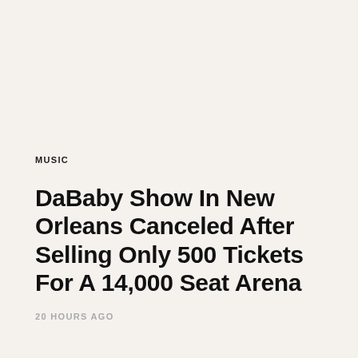MUSIC
DaBaby Show In New Orleans Canceled After Selling Only 500 Tickets For A 14,000 Seat Arena
20 HOURS AGO